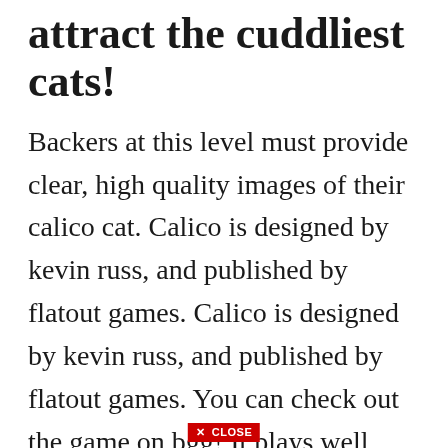attract the cuddliest cats!
Backers at this level must provide clear, high quality images of their calico cat. Calico is designed by kevin russ, and published by flatout games. Calico is designed by kevin russ, and published by flatout games. You can check out the game on bgg! It plays well with anywhere from one to four people, but i find it most enjoyable solitaire or with two. Calico kickstarter edition bundle in board games.
✕ CLOSE